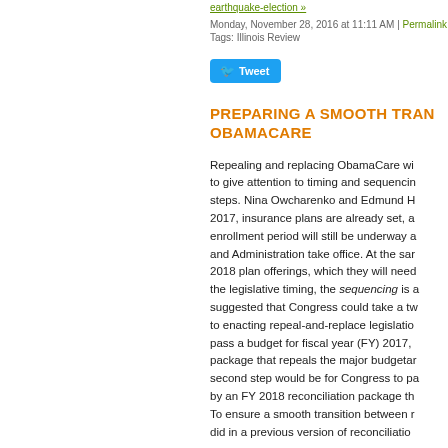earthquake-election »
Monday, November 28, 2016 at 11:11 AM | Permalink
Tags: Illinois Review
[Figure (other): Twitter Tweet button]
PREPARING A SMOOTH TRANSITION AWAY FROM OBAMACARE
Repealing and replacing ObamaCare will require Congress to give attention to timing and sequencing of legislative steps. Nina Owcharenko and Edmund H... 2017, insurance plans are already set, and the open enrollment period will still be underway as the new Congress and Administration take office. At the same time, insurers are deciding 2018 plan offerings, which they will need to do based on the legislative timing, the sequencing is also key...suggested that Congress could take a two-step approach to enacting repeal-and-replace legislation... pass a budget for fiscal year (FY) 2017, package that repeals the major budgetary...second step would be for Congress to pass...by an FY 2018 reconciliation package th... To ensure a smooth transition between r... did in a previous version of reconciliation...